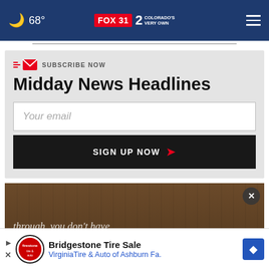68° FOX 31 2 COLORADO'S VERY OWN
SUBSCRIBE NOW
Midday News Headlines
Your email
SIGN UP NOW
[Figure (photo): Partially visible background image with text 'through, you don't have']
Bridgestone Tire Sale VirginiaTire & Auto of Ashburn Fa.